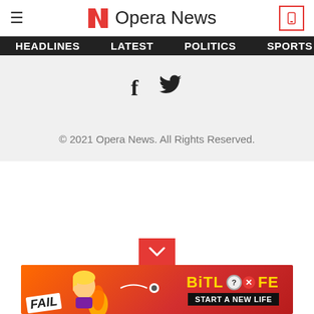[Figure (logo): Opera News logo with red N icon and text 'Opera News', hamburger menu on left, phone icon on right]
HEADLINES   LATEST   POLITICS   SPORTS   B
[Figure (infographic): Social media icons: Facebook (f) and Twitter bird icon on gray background]
© 2021 Opera News. All Rights Reserved.
[Figure (infographic): Red down-arrow chevron button and BitLife advertisement banner at bottom: 'FAIL' sticker, animated character, BitLife logo, 'START A NEW LIFE' tagline]